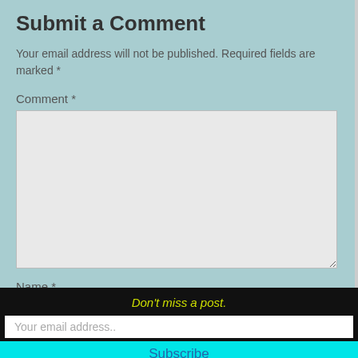Submit a Comment
Your email address will not be published. Required fields are marked *
Comment *
[Figure (other): Empty comment textarea input field with light gray background]
Name *
[Figure (other): Empty name text input field with light gray background]
Don't miss a post.
Your email address..
Subscribe